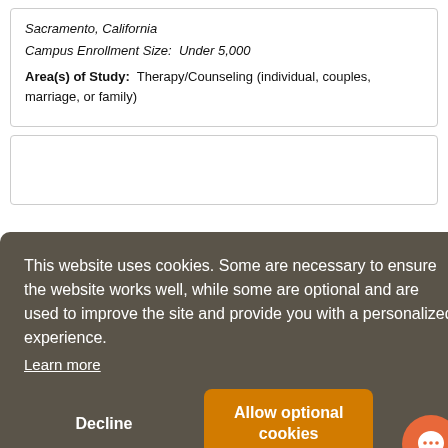Sacramento, California
Campus Enrollment Size:  Under 5,000
Area(s) of Study:  Therapy/Counseling (individual, couples, marriage, or family)
This website uses cookies. Some are necessary to ensure the website works well, while some are optional and are used to improve the site and provide you with a personalized experience.
Learn more
Decline
Allow optional cookies
couples, marriage, or family)